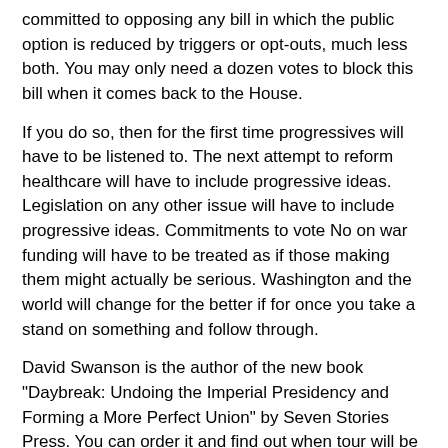committed to opposing any bill in which the public option is reduced by triggers or opt-outs, much less both. You may only need a dozen votes to block this bill when it comes back to the House.
If you do so, then for the first time progressives will have to be listened to. The next attempt to reform healthcare will have to include progressive ideas. Legislation on any other issue will have to include progressive ideas. Commitments to vote No on war funding will have to be treated as if those making them might actually be serious. Washington and the world will change for the better if for once you take a stand on something and follow through.
David Swanson is the author of the new book "Daybreak: Undoing the Imperial Presidency and Forming a More Perfect Union" by Seven Stories Press. You can order it and find out when tour will be in your town: http://davidswanson.org/book.
»
Login or register to post comments